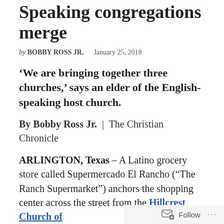Speaking congregations merge
by BOBBY ROSS JR.    January 25, 2018
‘We are bringing together three churches,’ says an elder of the English-speaking host church.
By Bobby Ross Jr. | The Christian Chronicle
ARLINGTON, Texas – A Latino grocery store called Supermercado El Rancho (“The Ranch Supermarket”) anchors the shopping center across the street from the Hillcrest Church of